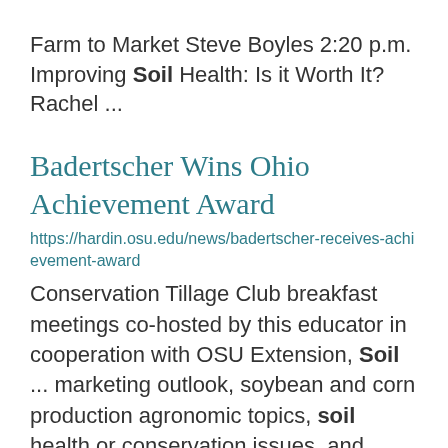Farm to Market Steve Boyles 2:20 p.m. Improving Soil Health: Is it Worth It? Rachel ...
Badertscher Wins Ohio Achievement Award
https://hardin.osu.edu/news/badertscher-receives-achievement-award
Conservation Tillage Club breakfast meetings co-hosted by this educator in cooperation with OSU Extension, Soil ... marketing outlook, soybean and corn production agronomic topics, soil health or conservation issues, and ...